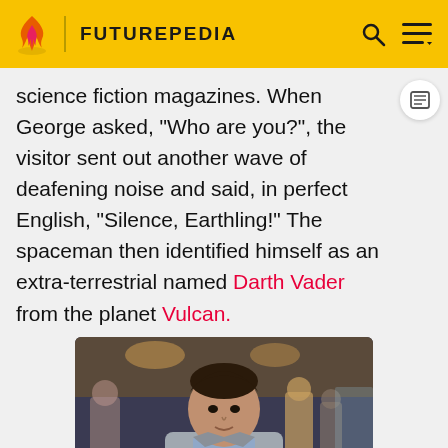FUTUREPEDIA
science fiction magazines. When George asked, "Who are you?", the visitor sent out another wave of deafening noise and said, in perfect English, "Silence, Earthling!" The spaceman then identified himself as an extra-terrestrial named Darth Vader from the planet Vulcan.
[Figure (photo): George, aged 17, in 1955, in a diner scene attempting to ask out Lorraine. Young man in light grey jacket with slicked hair stands in foreground of a busy 1950s diner.]
George, aged 17, in 1955, attempting to ask out Lorraine
"Vader" ordered George to ask Lorraine for a date or he